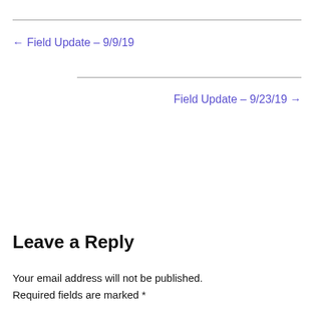← Field Update – 9/9/19
Field Update – 9/23/19 →
Leave a Reply
Your email address will not be published. Required fields are marked *